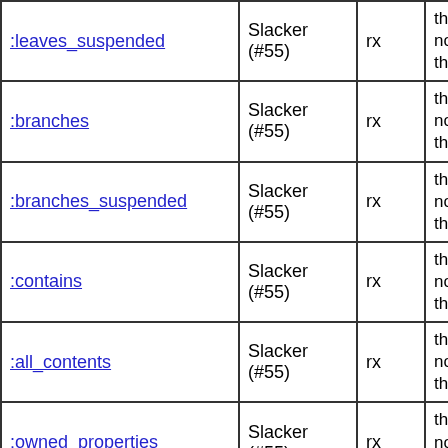| :leaves_suspended | Slacker (#55) | rx | this
none
this |
| :branches | Slacker (#55) | rx | this
none
this |
| :branches_suspended | Slacker (#55) | rx | this
none
this |
| :contains | Slacker (#55) | rx | this
none
this |
| :all_contents | Slacker (#55) | rx | this
none
this |
| :owned_properties | Slacker (#55) | rx | this
none
this |
| :findable_properties | Slacker (#55) | rx | this
none
this |
| :descendants_with_property_suspended | Slacker (#55) | rx | this
none
this |